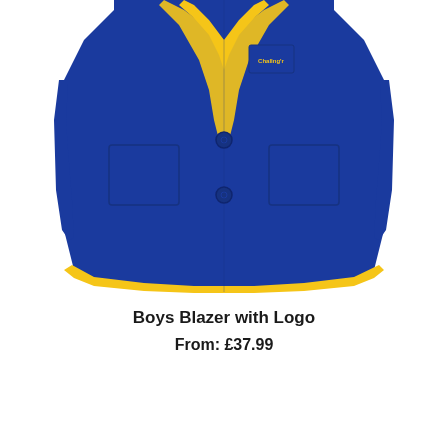[Figure (photo): A royal blue boys school blazer with yellow trim/piping along the lapels and hem, two front patch pockets, two blue buttons, and a school logo embroidered in yellow on the breast pocket. Photographed on a white background.]
Boys Blazer with Logo
From: £37.99